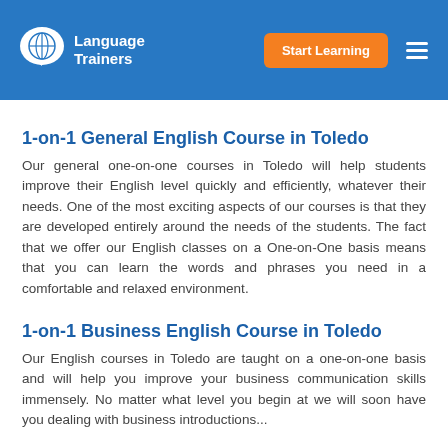Language Trainers | Start Learning
1-on-1 General English Course in Toledo
Our general one-on-one courses in Toledo will help students improve their English level quickly and efficiently, whatever their needs. One of the most exciting aspects of our courses is that they are developed entirely around the needs of the students. The fact that we offer our English classes on a One-on-One basis means that you can learn the words and phrases you need in a comfortable and relaxed environment.
1-on-1 Business English Course in Toledo
Our English courses in Toledo are taught on a one-on-one basis and will help you improve your business communication skills immensely. No matter what level you begin at we will soon have you dealing with business introductions...